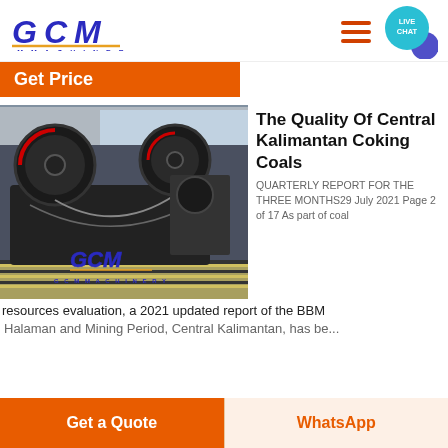[Figure (logo): GCM Machinery logo with blue italic GCM text and gold underline, text GCM MACHINERY below]
[Figure (other): Hamburger menu icon (three orange horizontal lines)]
[Figure (other): Live Chat button: teal circle with LIVE CHAT text and purple speech bubble tail]
Get Price
[Figure (photo): Industrial jaw crusher machine in a factory floor with GCM logo overlay and GCM MACHINERY text]
The Quality Of Central Kalimantan Coking Coals
QUARTERLY REPORT FOR THE THREE MONTHS29 July 2021 Page 2 of 17 As part of coal
resources evaluation, a 2021 updated report of the BBM
Get a Quote
WhatsApp